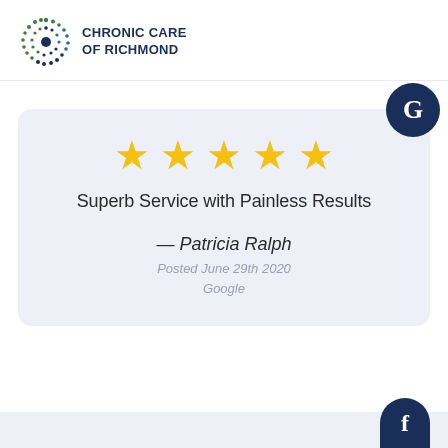[Figure (logo): Chronic Care of Richmond logo with dot pattern circle and text]
[Figure (infographic): Google review card with 5 gold stars, review title 'Superb Service with Painless Results', reviewer Patricia Ralph, posted June 29th 2020, platform Google, with Google G badge and Facebook badge]
Superb Service with Painless Results
— Patricia Ralph
Posted June 29th 2020
Google